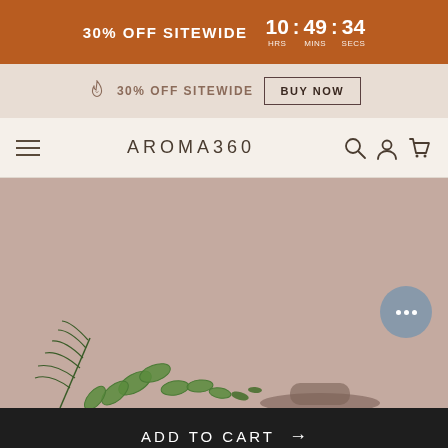30% OFF SITEWIDE  10 HRS : 49 MINS : 34 SECS
30% OFF SITEWIDE  BUY NOW
AROMA360
[Figure (photo): Product photo with fern leaves on a dusty rose/mauve background]
ADD TO CART →